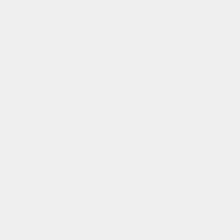of sustainable luxury in Austral... instance, former Coober Pedy entrepreneur John Andrea plan unique international undergrou luxurious Desert Cave, but it w 1981 when Umberto Coro reali subterranean spaces' potentiali Andrea's dream. Another opal e Dennis Ingram designed a golf 'scrapes,' which emerged abov made with opal quarry dust anc popular culture too, the town ha filmmakers, such as George Mi produce his post-apocalyptic ep and Wim Wenders, to documer wandering scenes not because scarcity but due to the harsh de landscape littered with spoil he adaptive reuse and indigenous Coober Pedy, this chapter addr existing underground passages